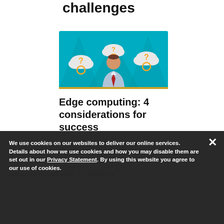challenges
[Figure (illustration): Illustration of a business person surrounded by three clouds each containing a question mark, on a teal geometric background, representing confusion or edge computing challenges.]
Edge computing: 4 considerations for success
We use cookies on our websites to deliver our online services. Details about how we use cookies and how you may disable them are set out in our Privacy Statement. By using this website you agree to our use of cookies.